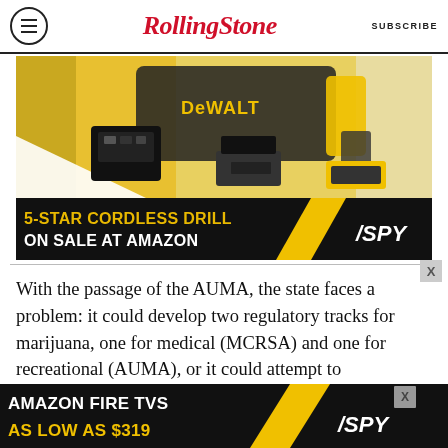RollingStone — SUBSCRIBE
[Figure (infographic): DeWalt cordless drill advertisement — yellow/black background with DeWalt tool kit (drill, charger, batteries, carrying bag). Text reads '5-STAR CORDLESS DRILL ON SALE AT AMAZON' with SPY logo.]
With the passage of the AUMA, the state faces a problem: it could develop two regulatory tracks for marijuana, one for medical (MCRSA) and one for recreational (AUMA), or it could attempt to
[Figure (infographic): Amazon Fire TVs advertisement — black background with yellow text. Line 1: 'AMAZON FIRE TVS', Line 2: 'AS LOW AS $319'. SPY logo on right.]